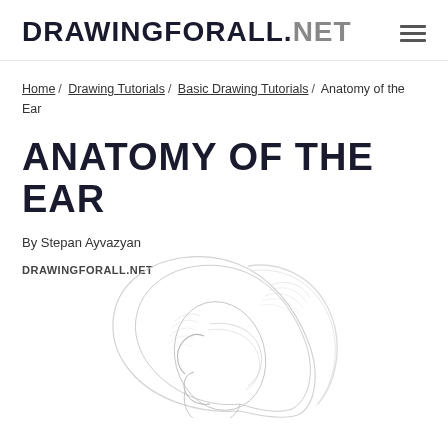DRAWINGFORALL.NET
Home / Drawing Tutorials / Basic Drawing Tutorials / Anatomy of the Ear
ANATOMY OF THE EAR
By Stepan Ayvazyan
[Figure (illustration): Pencil sketch illustration of a human ear with detailed anatomical lines and shading, watermarked with DRAWINGFORALL.NET]